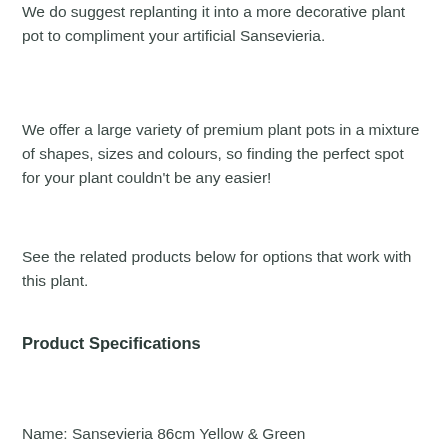We do suggest replanting it into a more decorative plant pot to compliment your artificial Sansevieria.
We offer a large variety of premium plant pots in a mixture of shapes, sizes and colours, so finding the perfect spot for your plant couldn't be any easier!
See the related products below for options that work with this plant.
Product Specifications
Name: Sansevieria 86cm Yellow & Green